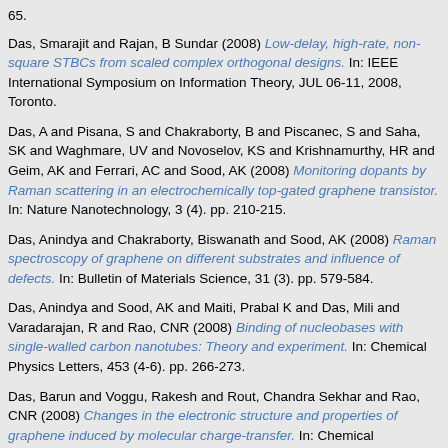65.
Das, Smarajit and Rajan, B Sundar (2008) Low-delay, high-rate, non-square STBCs from scaled complex orthogonal designs. In: IEEE International Symposium on Information Theory, JUL 06-11, 2008, Toronto.
Das, A and Pisana, S and Chakraborty, B and Piscanec, S and Saha, SK and Waghmare, UV and Novoselov, KS and Krishnamurthy, HR and Geim, AK and Ferrari, AC and Sood, AK (2008) Monitoring dopants by Raman scattering in an electrochemically top-gated graphene transistor. In: Nature Nanotechnology, 3 (4). pp. 210-215.
Das, Anindya and Chakraborty, Biswanath and Sood, AK (2008) Raman spectroscopy of graphene on different substrates and influence of defects. In: Bulletin of Materials Science, 31 (3). pp. 579-584.
Das, Anindya and Sood, AK and Maiti, Prabal K and Das, Mili and Varadarajan, R and Rao, CNR (2008) Binding of nucleobases with single-walled carbon nanotubes: Theory and experiment. In: Chemical Physics Letters, 453 (4-6). pp. 266-273.
Das, Barun and Voggu, Rakesh and Rout, Chandra Sekhar and Rao, CNR (2008) Changes in the electronic structure and properties of graphene induced by molecular charge-transfer. In: Chemical Communications (41). pp. 5155-5157.
Das, Bibhuti B and Sinha, N and Ramanathan, KV (2008) The utility of phase alternated pulses for the measurement of dipolar couplings in 2D-SLF experiments. In: Journal of Magnetic Resonance, 194 (2). pp. 237-244.
Das, Bishnu Prasad and Amrutur, Bharadwaj and Jamadagni, HS and Arvind,